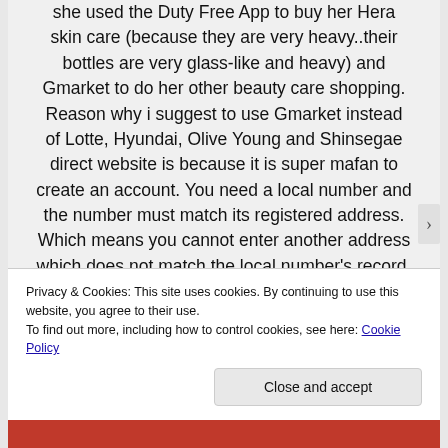she used the Duty Free App to buy her Hera skin care (because they are very heavy..their bottles are very glass-like and heavy) and Gmarket to do her other beauty care shopping. Reason why i suggest to use Gmarket instead of Lotte, Hyundai, Olive Young and Shinsegae direct website is because it is super mafan to create an account. You need a local number and the number must match its registered address. Which means you cannot enter another address which does not match the local number's record. It is really so troublesome to create an account even for some of their local online
Privacy & Cookies: This site uses cookies. By continuing to use this website, you agree to their use.
To find out more, including how to control cookies, see here: Cookie Policy
Close and accept